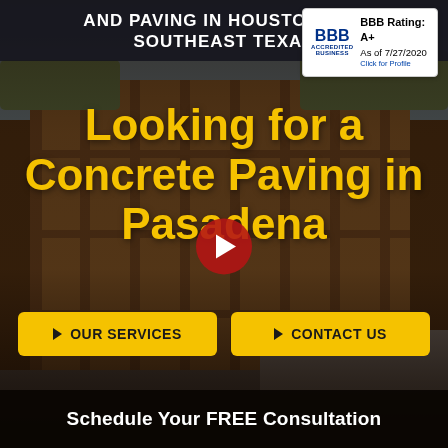AND PAVING IN HOUSTON AND SOUTHEAST TEXAS
[Figure (logo): BBB Accredited Business badge with A+ rating as of 7/27/2020, Click for Profile]
Looking for a Concrete Paving in Pasadena
[Figure (other): Red circular play button icon over construction background video thumbnail]
OUR SERVICES
CONTACT US
Schedule Your FREE Consultation